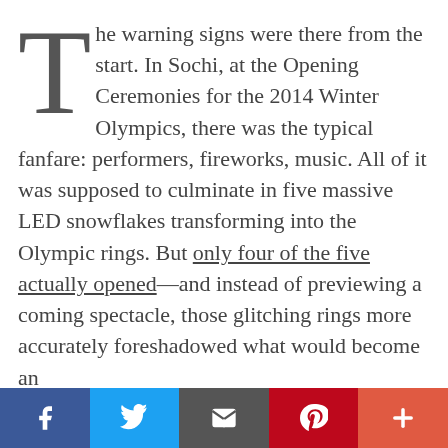The warning signs were there from the start. In Sochi, at the Opening Ceremonies for the 2014 Winter Olympics, there was the typical fanfare: performers, fireworks, music. All of it was supposed to culminate in five massive LED snowflakes transforming into the Olympic rings. But only four of the five actually opened—and instead of previewing a coming spectacle, those glitching rings more accurately foreshadowed what would become an